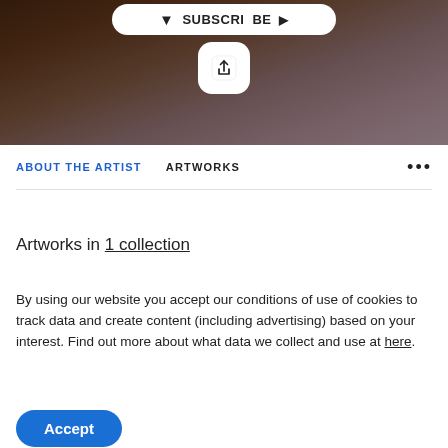[Figure (screenshot): Hero image showing a canyon with warm dark browns and purples, with a subscribe button and share button overlaid]
ABOUT THE ARTIST   ARTWORKS   ...
Artworks in 1 collection
By using our website you accept our conditions of use of cookies to track data and create content (including advertising) based on your interest. Find out more about what data we collect and use at here.
Accept